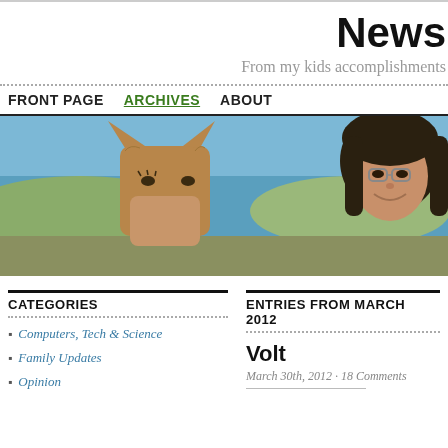News
From my kids accomplishments
FRONT PAGE   ARCHIVES   ABOUT
[Figure (photo): Banner photo showing close-up of a llama's face on the left and a woman with glasses smiling on the right, with a lake and hills in the background.]
CATEGORIES
ENTRIES FROM MARCH 2012
Computers, Tech & Science
Family Updates
Opinion
Volt
March 30th, 2012 · 18 Comments